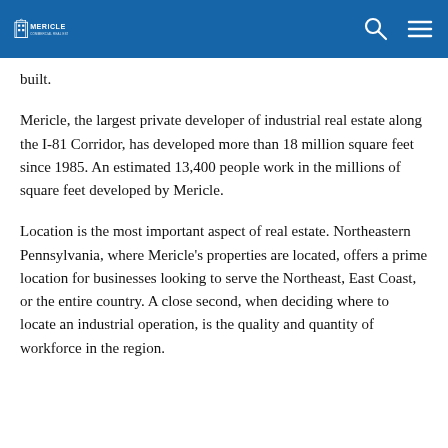Mericle
built.
Mericle, the largest private developer of industrial real estate along the I-81 Corridor, has developed more than 18 million square feet since 1985. An estimated 13,400 people work in the millions of square feet developed by Mericle.
Location is the most important aspect of real estate. Northeastern Pennsylvania, where Mericle's properties are located, offers a prime location for businesses looking to serve the Northeast, East Coast, or the entire country. A close second, when deciding where to locate an industrial operation, is the quality and quantity of workforce in the region.